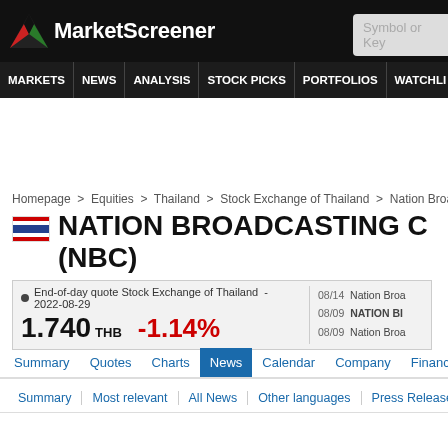[Figure (logo): MarketScreener logo with red/green arrow icon and white text on black background]
MARKETS NEWS ANALYSIS STOCK PICKS PORTFOLIOS WATCHLI
Homepage > Equities > Thailand > Stock Exchange of Thailand > Nation Broadcas
NATION BROADCASTING C (NBC)
| Quote Info | Value |
| --- | --- |
| End-of-day quote Stock Exchange of Thailand - 2022-08-29 |  |
| 1.740 THB | -1.14% |
| 08/14 | Nation Broa |
| 08/09 | NATION BI |
| 08/09 | Nation Broa |
Summary | Quotes | Charts | News | Calendar | Company | Financi
Summary | Most relevant | All News | Other languages | Press Release